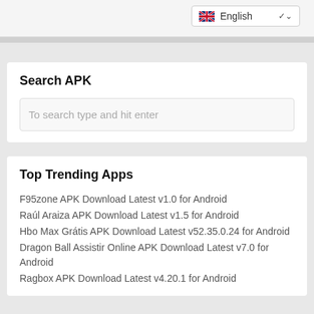[Figure (screenshot): Language selector dropdown showing UK flag and 'English' text with dropdown arrow]
Search APK
To search type and hit enter
Top Trending Apps
F95zone APK Download Latest v1.0 for Android
Raúl Araiza APK Download Latest v1.5 for Android
Hbo Max Grátis APK Download Latest v52.35.0.24 for Android
Dragon Ball Assistir Online APK Download Latest v7.0 for Android
Ragbox APK Download Latest v4.20.1 for Android